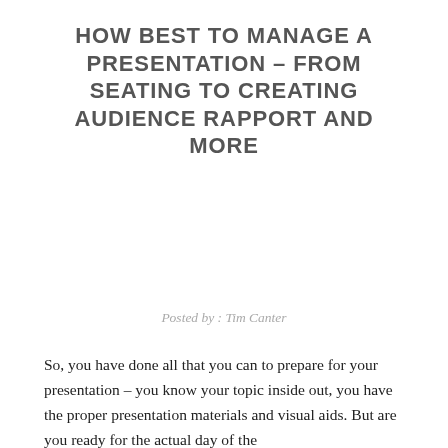HOW BEST TO MANAGE A PRESENTATION – FROM SEATING TO CREATING AUDIENCE RAPPORT AND MORE
Posted by : Tim Canter
So, you have done all that you can to prepare for your presentation – you know your topic inside out, you have the proper presentation materials and visual aids. But are you ready for the actual day of the